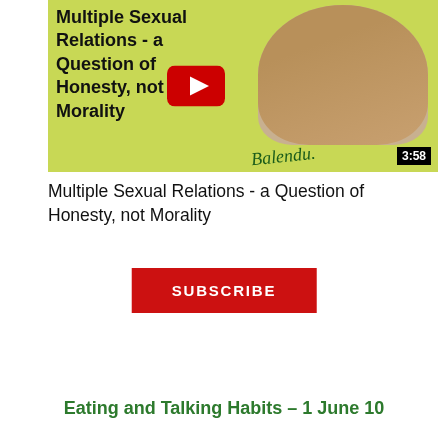[Figure (screenshot): YouTube video thumbnail showing a man (Balendu) smiling against a yellow-green background. Text on thumbnail reads 'Multiple Sexual Relations - a Question of Honesty, not Morality'. A red YouTube play button is visible in the center. Duration badge shows 3:58 in bottom-right corner.]
Multiple Sexual Relations - a Question of Honesty, not Morality
SUBSCRIBE
Eating and Talking Habits – 1 June 10